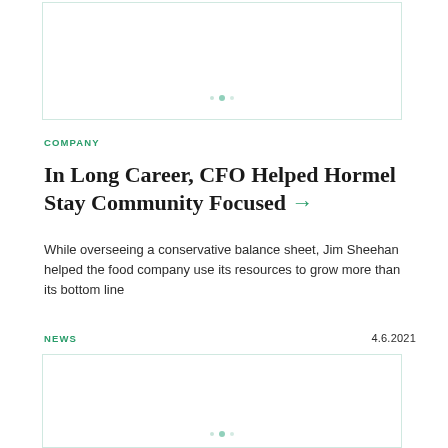[Figure (other): Image placeholder with loading spinner dots, top card]
COMPANY
In Long Career, CFO Helped Hormel Stay Community Focused →
While overseeing a conservative balance sheet, Jim Sheehan helped the food company use its resources to grow more than its bottom line
NEWS
4.6.2021
[Figure (other): Image placeholder with loading spinner dots, bottom card]